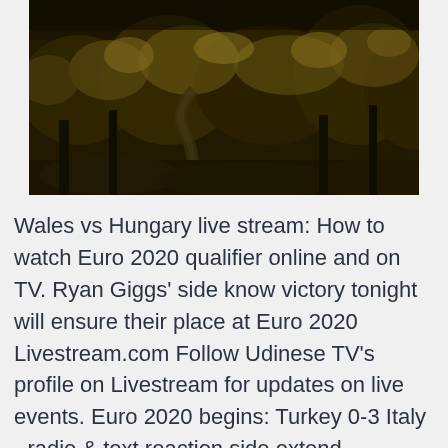[Figure (photo): Aerial or wide landscape view of dense dark forest with trees and winding path, dark golden/brown tones]
Wales vs Hungary live stream: How to watch Euro 2020 qualifier online and on TV. Ryan Giggs' side know victory tonight will ensure their place at Euro 2020 Livestream.com Follow Udinese TV’s profile on Livestream for updates on live events. Euro 2020 begins: Turkey 0-3 Italy - radio & text reaction side extend unbeaten run to 28 games; Wales and Switzerland also in Group A. Live  Official Turkey vs Wales Live Streams, Live Soccer Scores, Fixtures, Tables, Results, News, Pubs and Video Highlights,